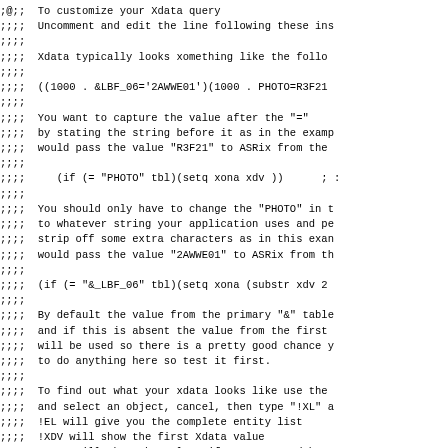;@;; To customize your Xdata query
;;;; Uncomment and edit the line following these ins
;;;;
;;;; Xdata typically looks xomething like the follo
;;;;
;;;; ((1000 . &LBF_06='2AWWE01')(1000 . PHOTO=R3F21
;;;;
;;;; You want to capture the value after the "="
;;;; by stating the string before it as in the examp
;;;; would pass the value "R3F21" to ASRix from the
;;;;
;;;;    (if (= "PHOTO" tbl)(setq xona xdv ))      ; :
;;;;
;;;; You should only have to change the "PHOTO" in t
;;;; to whatever string your application uses and pe
;;;; strip off some extra characters as in this exan
;;;; would pass the value "2AWWE01" to ASRix from th
;;;;
;;;; (if (= "&_LBF_06" tbl)(setq xona (substr xdv 2
;;;;
;;;; By default the value from the primary "&" table
;;;; and if this is absent the value from the first
;;;; will be used so there is a pretty good chance y
;;;; to do anything here so test it first.
;;;;
;;;; To find out what your xdata looks like use the
;;;; and select an object, cancel, then type "!XL" a
;;;; !EL will give you the complete entity list
;;;; !XDV will show the first Xdata value
;;;; !XONA will show the value, if any, trapped by